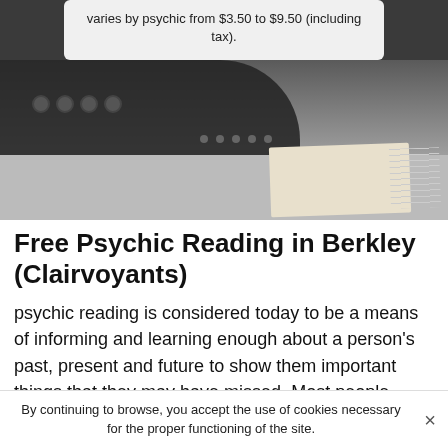varies by psychic from $3.50 to $9.50 (including tax).
[Figure (photo): Dark blurry photo of a person leaning over a desk with a notebook, taken from above. A tooltip/popup box is visible at the top center of the image.]
Free Psychic Reading in Berkley (Clairvoyants)
psychic reading is considered today to be a means of informing and learning enough about a person's past, present and future to show them important things that they may have missed. Most people around the world rely on it because of its importance and usefulness. However.
By continuing to browse, you accept the use of cookies necessary for the proper functioning of the site.